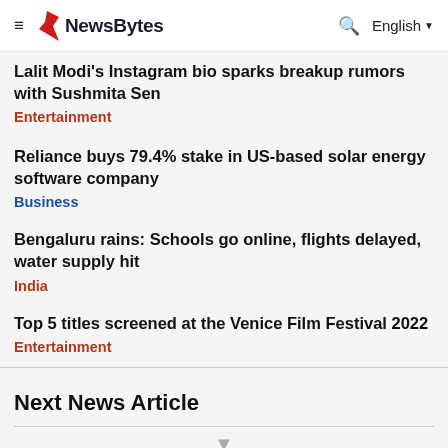≡ NewsBytes  🔍 English ▼
Lalit Modi's Instagram bio sparks breakup rumors with Sushmita Sen
Entertainment
Reliance buys 79.4% stake in US-based solar energy software company
Business
Bengaluru rains: Schools go online, flights delayed, water supply hit
India
Top 5 titles screened at the Venice Film Festival 2022
Entertainment
Next News Article